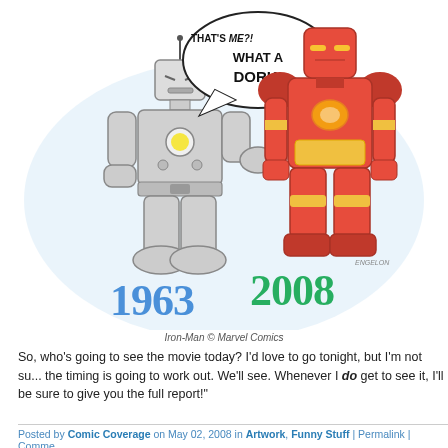[Figure (illustration): Comic illustration showing two versions of Iron Man side by side. Left: a gray boxy robot (1963 version) with an antenna, yellow circle on chest, pointing finger. Speech bubble says 'THAT'S ME?! WHAT A DORK!' Right: modern red and gold Iron Man armor (2008 version). Below each figure are large stylized years: '1963' in blue and '2008' in green. Signed 'ENGELON' in bottom right of illustration.]
Iron-Man © Marvel Comics
So, who's going to see the movie today? I'd love to go tonight, but I'm not sure the timing is going to work out. We'll see. Whenever I do get to see it, I'll be sure to give you the full report!"
Posted by Comic Coverage on May 02, 2008 in Artwork, Funny Stuff | Permalink | Comme...